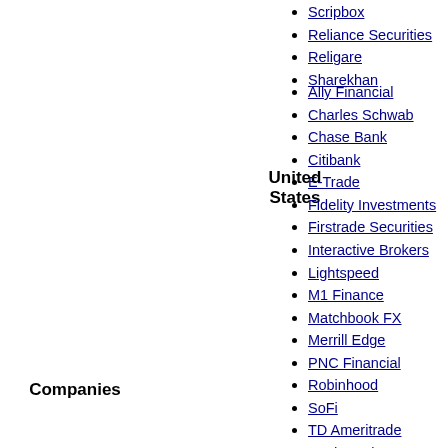Scripbox
Reliance Securities
Religare
Sharekhan
United States
Ally Financial
Charles Schwab
Chase Bank
Citibank
E-Trade
Fidelity Investments
Firstrade Securities
Interactive Brokers
Lightspeed
M1 Finance
Matchbook FX
Merrill Edge
PNC Financial
Robinhood
SoFi
TD Ameritrade
TradeStation
U.S. Bancorp
The Vanguard Group
Webull
Companies